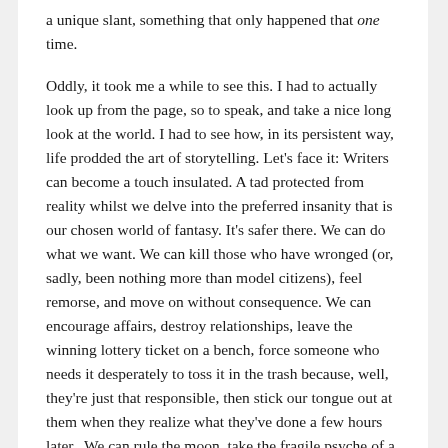a unique slant, something that only happened that one time.
Oddly, it took me a while to see this. I had to actually look up from the page, so to speak, and take a nice long look at the world. I had to see how, in its persistent way, life prodded the art of storytelling. Let's face it: Writers can become a touch insulated. A tad protected from reality whilst we delve into the preferred insanity that is our chosen world of fantasy. It's safer there. We can do what we want. We can kill those who have wronged (or, sadly, been nothing more than model citizens), feel remorse, and move on without consequence. We can encourage affairs, destroy relationships, leave the winning lottery ticket on a bench, force someone who needs it desperately to toss it in the trash because, well, they're just that responsible, then stick our tongue out at them when they realize what they've done a few hours later.  We can rule the moon, take the fragile psyche of a beaten soul and thrash it upon the ground like a small child